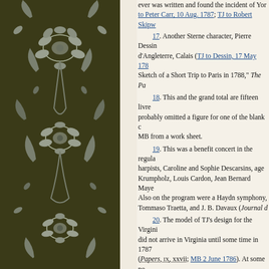[Figure (illustration): Decorative floral/botanical pattern in dark olive green with light blue-grey botanical motifs on left side of page, with a cream strip separating it from the text column.]
ever was written and found the incident of Yor... to Peter Carr, 10 Aug. 1787; TJ to Robert Skipw...
17. Another Sterne character, Pierre Dessin... d'Angleterre, Calais (TJ to Dessin, 17 May 178... Sketch of a Short Trip to Paris in 1788," The Pa...
18. This and the grand total are fifteen livre... probably omitted a figure for one of the blank c... MB from a work sheet.
19. This was a benefit concert in the regula... harpists, Caroline and Sophie Descarsins, age... Krumpholz, Louis Cardon, Jean Bernard Maye... Also on the program were a Haydn symphony,... Tommaso Traetta, and J. B. Davaux (Journal d...
20. The model of TJ's design for the Virgini... did not arrive in Virginia until some time in 1787... (Papers, ix, xxvii; MB 2 June 1786). At some po... Grecian buildings on display in his atelier in the... Victoires (Rice, Jefferson's Paris, p. 129).
21. William Carmichael (d. 1795) was Ame...
22. As neither TJ nor Martha was ill at this t... attendance from the time of his arrival in Paris.